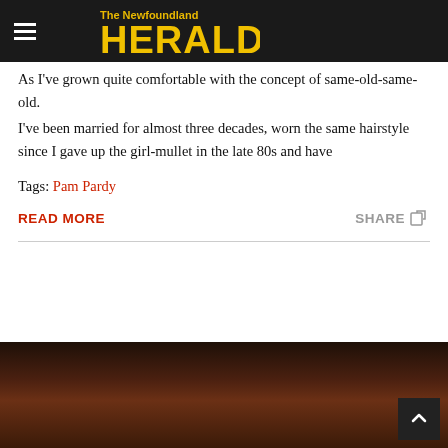The Newfoundland Herald
As I've grown quite comfortable with the concept of same-old-same-old.
I've been married for almost three decades, worn the same hairstyle since I gave up the girl-mullet in the late 80s and have
Tags: Pam Pardy
READ MORE   SHARE
[Figure (photo): Dark reddish-brown atmospheric photo, partially visible at bottom of page]